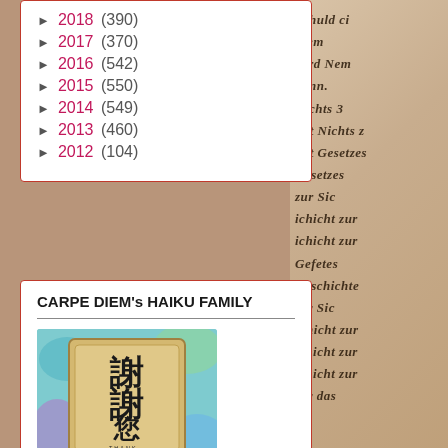► 2018 (390)
► 2017 (370)
► 2016 (542)
► 2015 (550)
► 2014 (549)
► 2013 (460)
► 2012 (104)
CARPE DIEM's HAIKU FAMILY
[Figure (photo): A wooden rubber stamp with Chinese/Japanese characters 谢谢您 (Thank You) on a colorful background, with 'THANK YOU' printed in small letters at the bottom.]
my new wordpress weblog